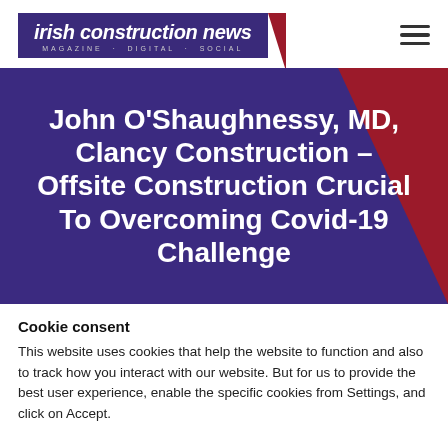irish construction news — MAGAZINE · DIGITAL · SOCIAL
John O'Shaughnessy, MD, Clancy Construction – Offsite Construction Crucial To Overcoming Covid-19 Challenge
Cookie consent
This website uses cookies that help the website to function and also to track how you interact with our website. But for us to provide the best user experience, enable the specific cookies from Settings, and click on Accept.
Preferences | Reject All | Accept All